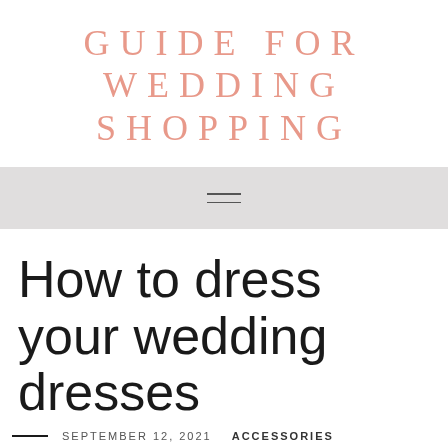GUIDE FOR WEDDING SHOPPING
[Figure (other): Navigation hamburger menu icon (two horizontal lines) on a light gray background bar]
How to dress your wedding dresses
SEPTEMBER 12, 2021   ACCESSORIES